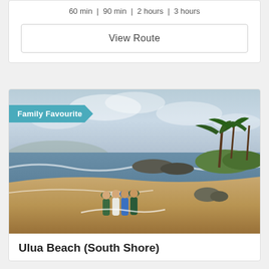60 min | 90 min | 2 hours | 3 hours
View Route
[Figure (photo): Group of women walking together on a sandy beach with ocean waves, rocky shoreline, and palm trees in the background under a cloudy sky. A teal 'Family Favourite' ribbon banner is overlaid in the top left corner.]
Ulua Beach (South Shore)